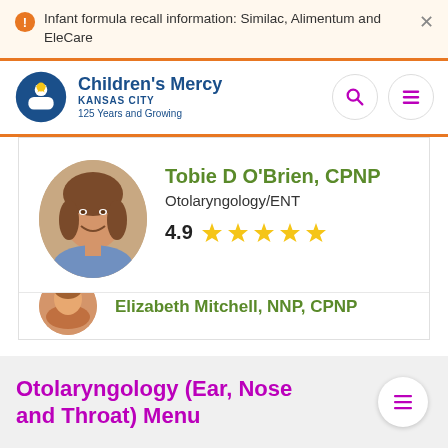Infant formula recall information: Similac, Alimentum and EleCare
[Figure (logo): Children's Mercy Kansas City – 125 Years and Growing logo with blue figure icon]
Tobie D O'Brien, CPNP
Otolaryngology/ENT
4.9 ★★★★★
Otolaryngology (Ear, Nose and Throat) Menu